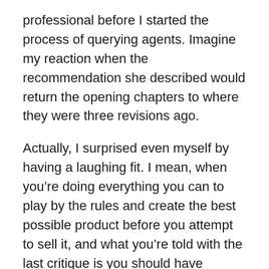professional before I started the process of querying agents. Imagine my reaction when the recommendation she described would return the opening chapters to where they were three revisions ago.
Actually, I surprised even myself by having a laughing fit. I mean, when you're doing everything you can to play by the rules and create the best possible product before you attempt to sell it, and what you're told with the last critique is you should have followed your original writing instinct (before paying a small fortune for the first three professional critiques), what else can you do?
I tried to consider if there was any way the recommendations of all of the professionals could somehow be combined to create a “super-manuscript.” But their opinions were complete opposites. “Begin the